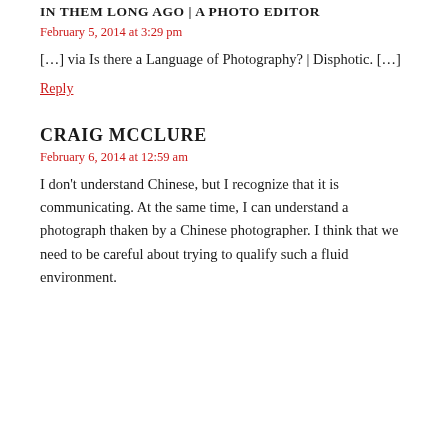IN THEM LONG AGO | A PHOTO EDITOR
February 5, 2014 at 3:29 pm
[…] via Is there a Language of Photography? | Disphotic. […]
Reply
CRAIG MCCLURE
February 6, 2014 at 12:59 am
I don't understand Chinese, but I recognize that it is communicating. At the same time, I can understand a photograph thaken by a Chinese photographer. I think that we need to be careful about trying to qualify such a fluid environment.